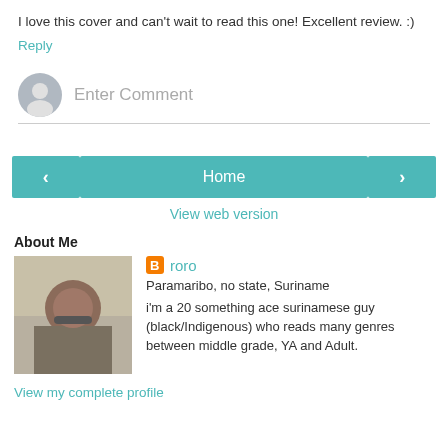I love this cover and can't wait to read this one! Excellent review. :)
Reply
[Figure (other): Comment input row with gray avatar circle and placeholder text 'Enter Comment' with underline]
[Figure (other): Navigation buttons: left arrow, Home, right arrow]
View web version
About Me
[Figure (photo): Profile photo of a young man with glasses]
roro
Paramaribo, no state, Suriname
i'm a 20 something ace surinamese guy (black/Indigenous) who reads many genres between middle grade, YA and Adult.
View my complete profile